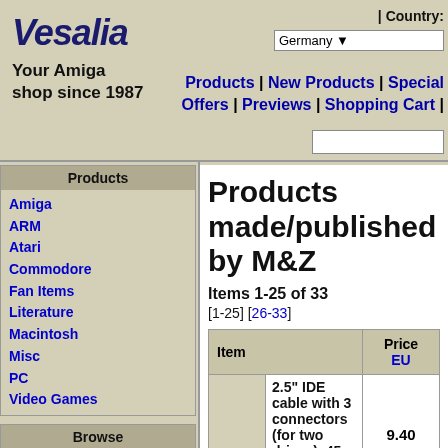Vesalia
Your Amiga shop since 1987
| Country:
Germany
Products | New Products | Special Offers | Previews | Shopping Cart |
Products
Amiga
ARM
Atari
Commodore
Fan Items
Literature
Macintosh
Misc
PC
Video Games
Browse
Products
New Products
Special Offers
Clearance
Previews
Products made/published by M&Z
Items 1-25 of 33
[1-25] [26-33]
| Item | Price EU |
| --- | --- |
| 2.5" IDE cable with 3 connectors (for two drives), 45 cm (7+38 cm) | 9.40 |
| 4 Player Adaptor for ... |  |